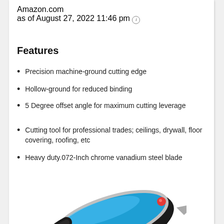Amazon.com
as of August 27, 2022 11:46 pm
Features
Precision machine-ground cutting edge
Hollow-ground for reduced binding
5 Degree offset angle for maximum cutting leverage
Cutting tool for professional trades; ceilings, drywall, floor covering, roofing, etc
Heavy duty.072-Inch chrome vanadium steel blade
[Figure (photo): Blue and black cutting tool / utility knife with a red button, shown from above at an angle]